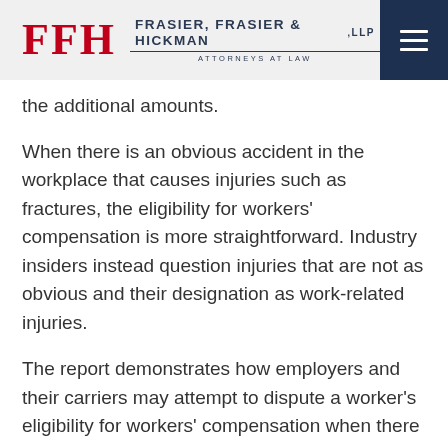FFH Frasier, Frasier & Hickman, LLP — Attorneys at Law
the additional amounts.
When there is an obvious accident in the workplace that causes injuries such as fractures, the eligibility for workers' compensation is more straightforward. Industry insiders instead question injuries that are not as obvious and their designation as work-related injuries.
The report demonstrates how employers and their carriers may attempt to dispute a worker's eligibility for workers' compensation when there hasn't been an obvious accident. Many job-related activities can lead to workplace injuries or illnesses,